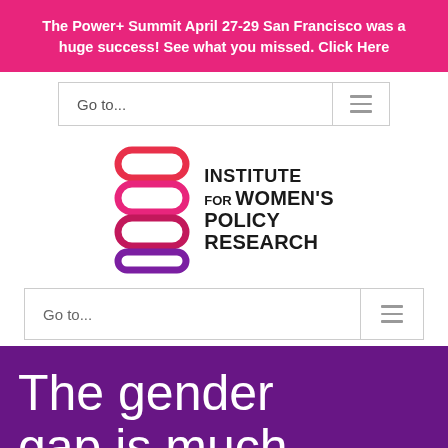The Power+ Summit April 27-29 San Francisco was a huge success! See what you missed. Click Here
Go to...
[Figure (logo): Institute for Women's Policy Research logo with stacked oval shapes in red, pink, and purple gradients]
Go to...
The gender gap is much